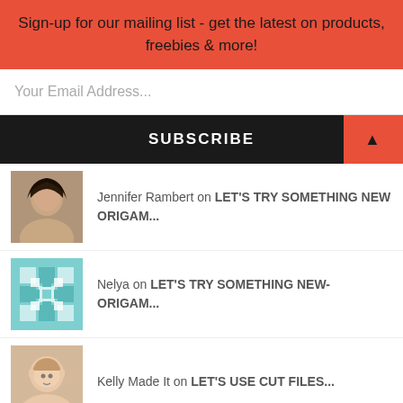Sign-up for our mailing list - get the latest on products, freebies & more!
Your Email Address...
SUBSCRIBE
Jennifer Rambert on LET'S TRY SOMETHING NEW ORIGAM...
Nelya on LET'S TRY SOMETHING NEW-ORIGAM...
Kelly Made It on LET'S USE CUT FILES...
Kelly Made It on LET'S MAKE A MEMORY PLAN...
- FACEBOOK -